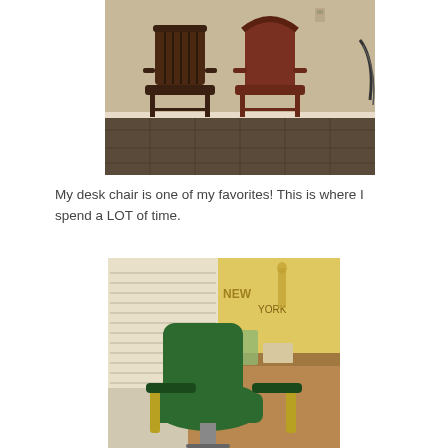[Figure (photo): Two antique wooden armchairs side by side on a tiled floor against a beige wall. The left chair has vertical slat back design, the right chair has a curved back. A bicycle wheel is partially visible on the right edge.]
My desk chair is one of my favorites!  This is where I spend a LOT of time.
[Figure (photo): A green vintage desk chair with padded seat and back, positioned in front of a wooden desk. Window blinds are visible in the background along with a New York poster and items on the desk.]